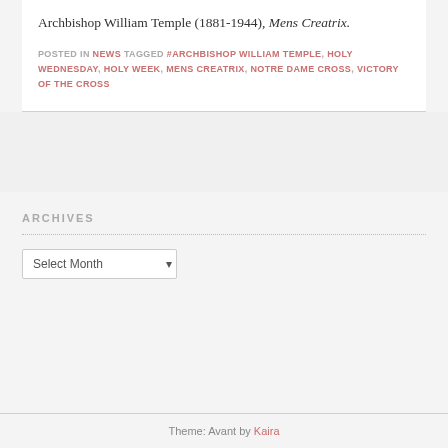Archbishop William Temple (1881-1944), Mens Creatrix.
POSTED IN NEWS TAGGED #ARCHBISHOP WILLIAM TEMPLE, HOLY WEDNESDAY, HOLY WEEK, MENS CREATRIX, NOTRE DAME CROSS, VICTORY OF THE CROSS
ARCHIVES
Select Month
Theme: Avant by Kaira